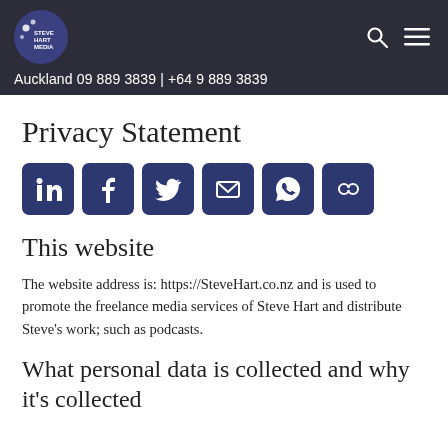Auckland 09 889 3839 | +64 9 889 3839
Privacy Statement
[Figure (infographic): Row of six social media share buttons: LinkedIn, Facebook, Twitter, Email, WhatsApp, and a link/copy icon. Each is a dark navy rounded square with a white icon.]
This website
The website address is: https://SteveHart.co.nz and is used to promote the freelance media services of Steve Hart and distribute Steve's work; such as podcasts.
What personal data is collected and why it's collected